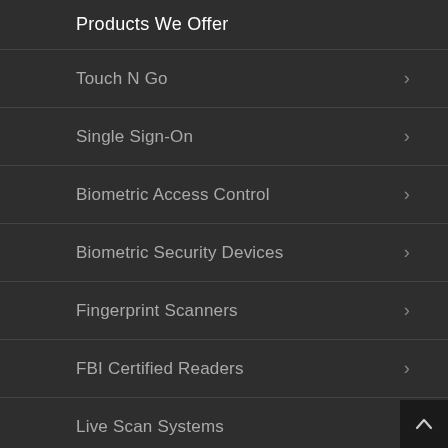Products We Offer
Touch N Go
Single Sign-On
Biometric Access Control
Biometric Security Devices
Fingerprint Scanners
FBI Certified Readers
Live Scan Systems
OEM Modules